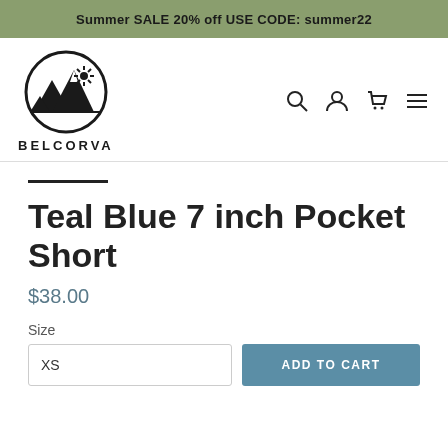Summer SALE 20% off USE CODE: summer22
[Figure (logo): Belcorva mountain/sun circular logo with BELCORVA text below]
Teal Blue 7 inch Pocket Short
$38.00
Size
XS
ADD TO CART